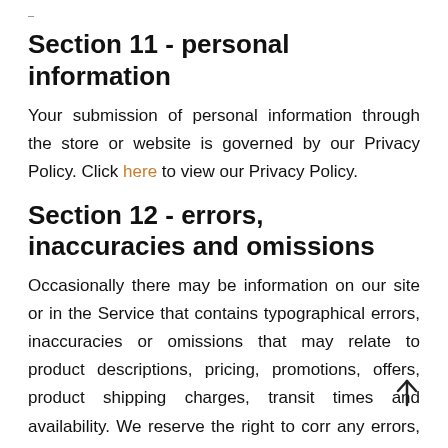…
Section 11 - personal information
Your submission of personal information through the store or website is governed by our Privacy Policy. Click here to view our Privacy Policy.
Section 12 - errors, inaccuracies and omissions
Occasionally there may be information on our site or in the Service that contains typographical errors, inaccuracies or omissions that may relate to product descriptions, pricing, promotions, offers, product shipping charges, transit times and availability. We reserve the right to corr any errors, inaccuracies or omissions, and to